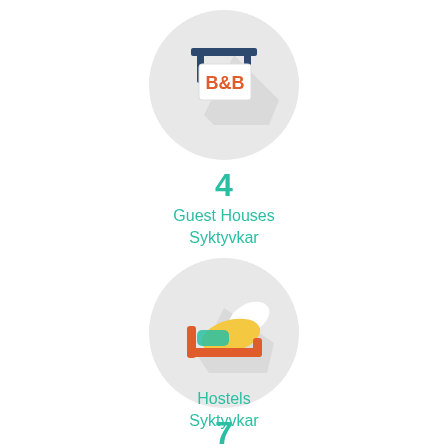[Figure (illustration): Circular grey icon with a B&B hanging sign — dark blue horizontal bar at top with two vertical supports, white sign board with orange 'B&B' text, diagonal shadow]
4
Guest Houses
Syktyvkar
[Figure (illustration): Circular grey icon with a bed/hostel — orange bed frame with yellow pillow/blanket and white pillow, diagonal shadow]
7
Hostels
Syktyvkar